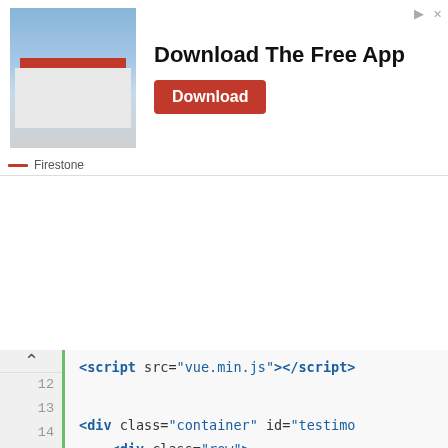[Figure (screenshot): Advertisement banner for Firestone app with store photo on left, 'Download The Free App' text and red Download button on right, with Firestone branding below.]
[Figure (screenshot): Code editor screenshot showing HTML source code with line numbers 12-31. Code includes script tag for vue.min.js, div elements with classes container, row, col-md-12, h2, items, card, with indented structure. Text is blue/dark on light background with green vertical bar gutter.]